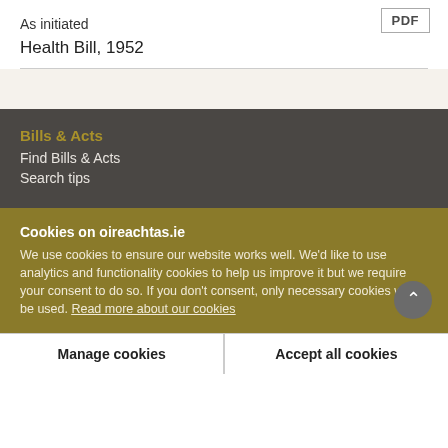As initiated
Health Bill, 1952
Bills & Acts
Find Bills & Acts
Search tips
Cookies on oireachtas.ie
We use cookies to ensure our website works well. We'd like to use analytics and functionality cookies to help us improve it but we require your consent to do so. If you don't consent, only necessary cookies will be used. Read more about our cookies
Manage cookies
Accept all cookies